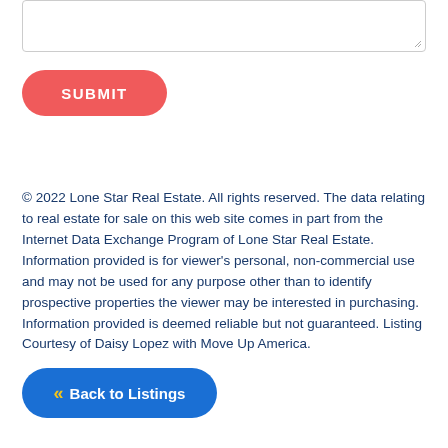[Figure (screenshot): Textarea input box with resize handle at bottom right]
SUBMIT
© 2022 Lone Star Real Estate. All rights reserved. The data relating to real estate for sale on this web site comes in part from the Internet Data Exchange Program of Lone Star Real Estate. Information provided is for viewer's personal, non-commercial use and may not be used for any purpose other than to identify prospective properties the viewer may be interested in purchasing. Information provided is deemed reliable but not guaranteed. Listing Courtesy of Daisy Lopez with Move Up America.
« Back to Listings